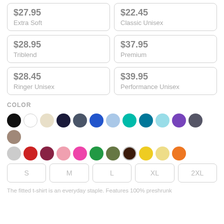$27.95 Extra Soft
$22.45 Classic Unisex
$28.95 Triblend
$37.95 Premium
$28.45 Ringer Unisex
$39.95 Performance Unisex
COLOR
[Figure (infographic): Color swatches showing available shirt colors: black, white, cream, dark navy, slate, royal blue, light blue, teal, dark teal, light cyan, purple, dark gray, taupe, light gray, red, maroon, light pink, hot pink, green, olive, brown (selected), yellow, light yellow, orange]
S   M   L   XL   2XL
The fitted t-shirt is an everyday staple. Features 100% preshrunk